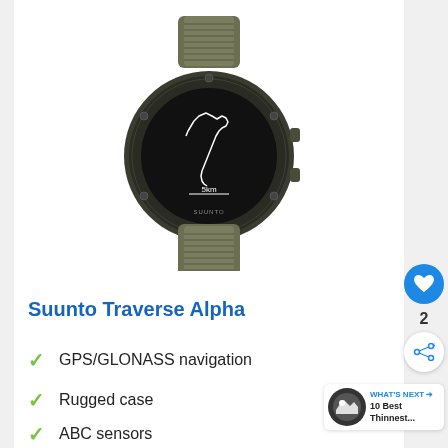[Figure (photo): Suunto Traverse Alpha GPS watch in dark green/grey with fabric strap, showing a GPS track map on the screen with '5km' scale indicator]
Suunto Traverse Alpha
GPS/GLONASS navigation
Rugged case
ABC sensors